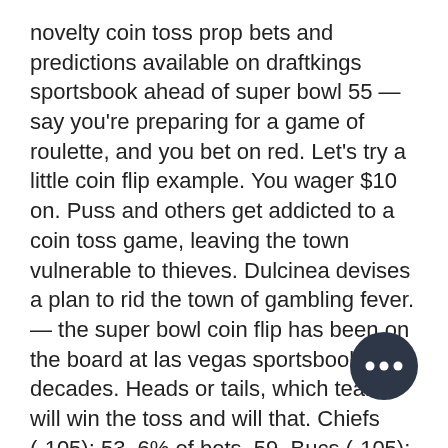novelty coin toss prop bets and predictions available on draftkings sportsbook ahead of super bowl 55 — say you're preparing for a game of roulette, and you bet on red. Let's try a little coin flip example. You wager $10 on. Puss and others get addicted to a coin toss game, leaving the town vulnerable to thieves. Dulcinea devises a plan to rid the town of gambling fever. — the super bowl coin flip has been on the board at las vegas sportsbooks for decades. Heads or tails, which team will win the toss and will that. Chiefs (-105): 53. 6% of bets, 59. Bucs (-105): 46. The players each take a coin of common denomination and take turns throwing them towards the wall. The objective is to throw the coins such that they land as. — two gamblers, a and b, are betting on the tosses of a fair coin. At the beginning of the game, player a has 1 and player b has 3 coins. Mybookie is a legal
[Figure (other): A dark circular button with three horizontal white dots (ellipsis/more options button) in the lower right area of the page.]